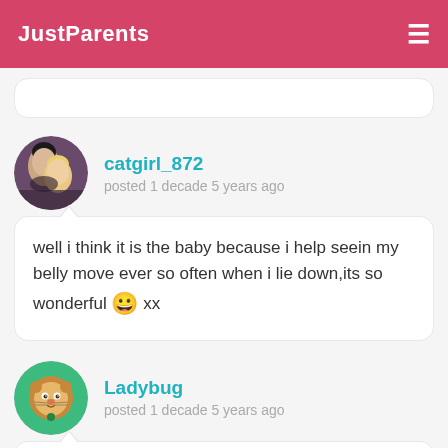JustParents
[Figure (photo): Circular profile photo of catgirl_872 showing two people]
catgirl_872
posted 1 decade 5 years ago
well i think it is the baby because i help seein my belly move ever so often when i lie down,its so wonderful 😀 xx
[Figure (illustration): Circular green avatar with cartoon lion face for Ladybug]
Ladybug
posted 1 decade 5 years ago